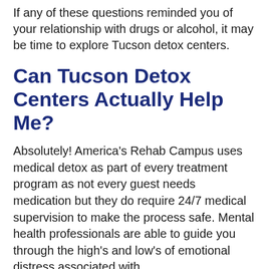If any of these questions reminded you of your relationship with drugs or alcohol, it may be time to explore Tucson detox centers.
Can Tucson Detox Centers Actually Help Me?
Absolutely! America's Rehab Campus uses medical detox as part of every treatment program as not every guest needs medication but they do require 24/7 medical supervision to make the process safe. Mental health professionals are able to guide you through the high's and low's of emotional distress associated with